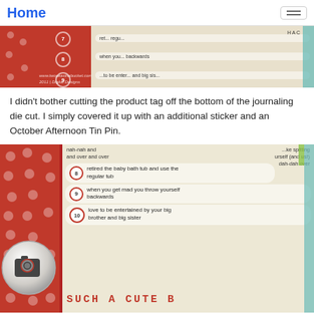Home
[Figure (photo): Close-up photo of a red polka-dot scrapbook journaling die cut showing numbered list items, with watermark www.twopeasinabucket.com 2011]
I didn't bother cutting the product tag off the bottom of the journaling die cut. I simply covered it up with an additional sticker and an October Afternoon Tin Pin.
[Figure (photo): Close-up photo of a red polka-dot scrapbook page featuring numbered list items 8, 9, 10 on cream background strips, a camera pin badge, and text reading SUCH A CUTE B... at the bottom]